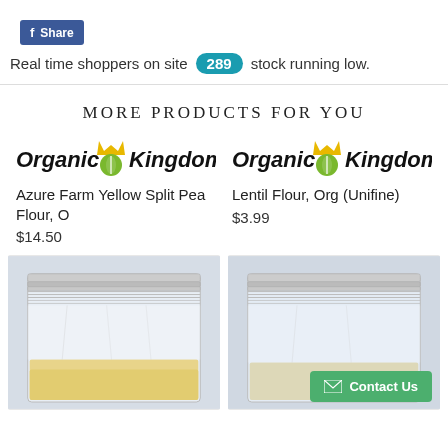[Figure (screenshot): Facebook Share button with blue background]
Real time shoppers on site 289 stock running low.
MORE PRODUCTS FOR YOU
[Figure (logo): Organic Kingdom logo - left product]
Azure Farm Yellow Split Pea Flour, O
$14.50
[Figure (logo): Organic Kingdom logo - right product]
Lentil Flour, Org (Unifine)
$3.99
[Figure (photo): Clear plastic bag with yellow flour - Azure Farm Yellow Split Pea Flour]
[Figure (photo): Clear plastic bag with flour - Lentil Flour with Contact Us button overlay]